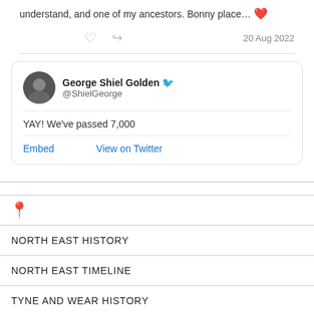understand, and one of my ancestors. Bonny place… ❤️
20 Aug 2022
George Shiel Golden @ShielGeorge
YAY! We've passed 7,000
Embed   View on Twitter
[Figure (other): Yellow location pin emoji]
NORTH EAST HISTORY
NORTH EAST TIMELINE
TYNE AND WEAR HISTORY